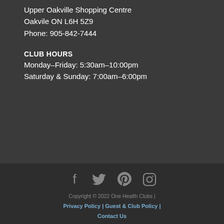Upper Oakville Shopping Centre
Oakvile ON L6H 5Z9
Phone: 905-842-7444
CLUB HOURS
Monday–Friday: 5:30am–10:00pm
Saturday & Sunday: 7:00am–6:00pm
[Figure (infographic): Social media icons: Facebook, Twitter, Pinterest, Instagram]
Copyright © 2022 One Health Clubs | Privacy Policy | Guest & Club Policy | Contact Us